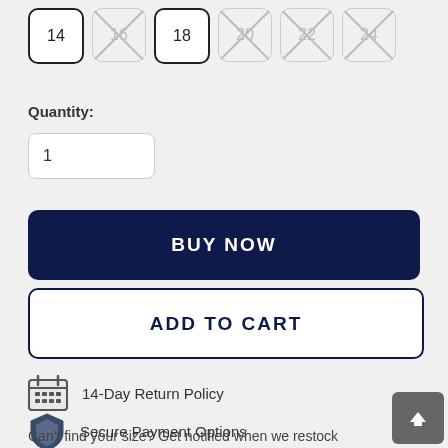[Figure (screenshot): Size selector row with boxes labeled 14 (selected/available), 16 (unavailable/crossed), 18 (available), 20 (unavailable/crossed), 22 (unavailable/crossed), 24 (unavailable/crossed)]
Quantity:
[Figure (other): Quantity input box showing value 1]
BUY NOW
ADD TO CART
14-Day Return Policy
Secure Payment Options
Can't find your size? Get notified when we restock